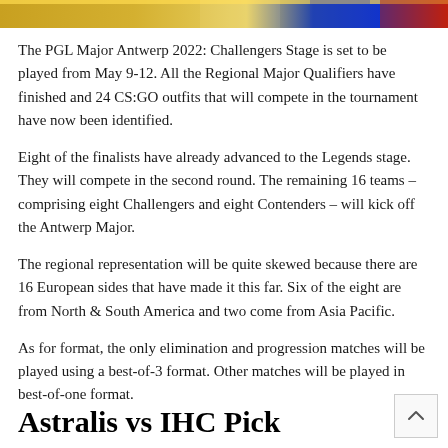[Figure (photo): Decorative banner image at top of page with colorful gaming/esports imagery including gold, blue and red elements]
The PGL Major Antwerp 2022: Challengers Stage is set to be played from May 9-12. All the Regional Major Qualifiers have finished and 24 CS:GO outfits that will compete in the tournament have now been identified.
Eight of the finalists have already advanced to the Legends stage. They will compete in the second round. The remaining 16 teams – comprising eight Challengers and eight Contenders – will kick off the Antwerp Major.
The regional representation will be quite skewed because there are 16 European sides that have made it this far. Six of the eight are from North & South America and two come from Asia Pacific.
As for format, the only elimination and progression matches will be played using a best-of-3 format. Other matches will be played in best-of-one format.
Astralis vs IHC Pick